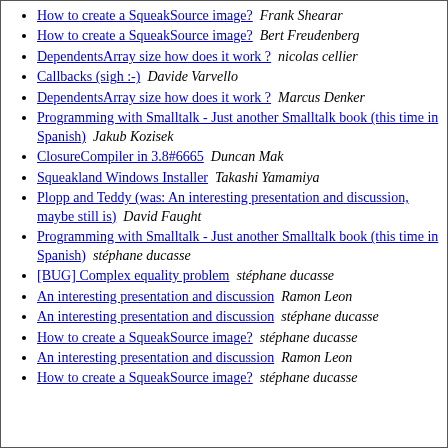How to create a SqueakSource image?  Frank Shearar
How to create a SqueakSource image?  Bert Freudenberg
DependentsArray size how does it work ?  nicolas cellier
Callbacks (sigh :-)  Davide Varvello
DependentsArray size how does it work ?  Marcus Denker
Programming with Smalltalk - Just another Smalltalk book (this time in Spanish)  Jakub Kozisek
ClosureCompiler in 3.8#6665  Duncan Mak
Squeakland Windows Installer  Takashi Yamamiya
Plopp and Teddy (was: An interesting presentation and discussion, maybe still is)  David Faught
Programming with Smalltalk - Just another Smalltalk book (this time in Spanish)  stéphane ducasse
[BUG] Complex equality problem  stéphane ducasse
An interesting presentation and discussion  Ramon Leon
An interesting presentation and discussion  stéphane ducasse
How to create a SqueakSource image?  stéphane ducasse
An interesting presentation and discussion  Ramon Leon
How to create a SqueakSource image?  stéphane ducasse